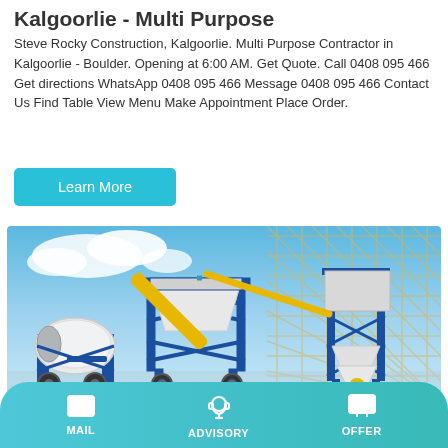Kalgoorlie - Multi Purpose
Steve Rocky Construction, Kalgoorlie. Multi Purpose Contractor in Kalgoorlie - Boulder. Opening at 6:00 AM. Get Quote. Call 0408 095 466 Get directions WhatsApp 0408 095 466 Message 0408 095 466 Contact Us Find Table View Menu Make Appointment Place Order.
Learn More
[Figure (photo): Industrial concrete batching plant and mixer on wheels with blue steel frame structure and yellow conveyor belt, set against a blue sky with architectural lattice structure in background]
MAIL  ADVISORY  OFFER